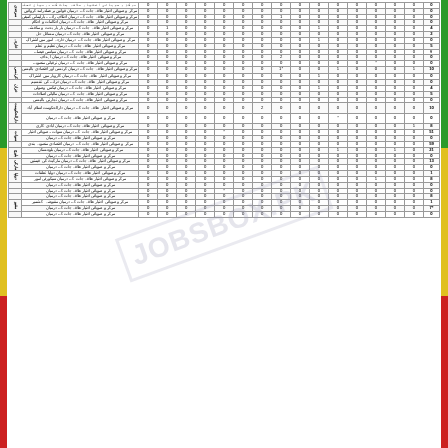| نمبر شمار | تفصیل | کل | column3 | column4 | column5 | column6 | column7 | column8 | column9 | column10 | column11 | column12 | column13 | column14 | column15 | column16 | کیٹیگری |
| --- | --- | --- | --- | --- | --- | --- | --- | --- | --- | --- | --- | --- | --- | --- | --- | --- | --- |
| 0 | مرکز و صوبائی اختیار علاقہ جات کے درمیان تعلقات... | 0 | 0 | 0 | 0 | 0 | 0 | 0 | 0 | 0 | 0 | 0 | 0 | 0 | 0 | 0 | سرحدی |
| 0 | مرکز و صوبائی اختیار علاقہ جات کے درمیان قوانین... | 0 | 0 | 0 | 0 | 0 | 0 | 0 | 0 | 0 | 0 | 0 | 0 | 0 | 0 | 0 | سرحدی |
| 0 | مرکز و صوبائی اختیار علاقہ جات کے درمیان - اختلاف... | 0 | 0 | 0 | 0 | 0 | 0 | 0 | 1 | 0 | 0 | 0 | 0 | 0 | 0 | 0 | سرحدی |
| 0 | مرکز و صوبائی اختیار علاقہ جات کے درمیان احکامات... | 0 | 0 | 0 | 0 | 0 | 0 | 0 | 0 | 0 | 0 | 0 | 0 | 0 | 0 | 0 |  |
| 4 | مرکز و صوبائی اختیار علاقہ جات کے درمیان بار... | 0 | 0 | 0 | 0 | 0 | 1 | 0 | 0 | 0 | 0 | 0 | 0 | 0 | 1 | 0 |  |
| 2 | مرکز و صوبائی اختیار علاقہ جات کے درمیان... | 0 | 0 | 0 | 0 | 0 | 0 | 0 | 0 | 0 | 0 | 0 | 0 | 0 | 0 | 0 |  |
| 0 | مرکز و صوبائی اختیار علاقہ جات کے درمیان... | 0 | 0 | 0 | 0 | 0 | 1 | 0 | 0 | 0 | 0 | 0 | 0 | 0 | 0 | 0 | خارجہ |
| 5 | مرکز و صوبائی اختیار علاقہ جات کے درمیان... | 0 | 0 | 0 | 0 | 0 | 0 | 0 | 0 | 0 | 0 | 0 | 0 | 0 | 0 | 0 |  |
| ۷ | مرکز و صوبائی اختیار... | 0 | 0 | 0 | 0 | 0 | 0 | 0 | 0 | 0 | 0 | 0 | 0 | 0 | 0 | 0 |  |
| 0 | مرکز و صوبائی اختیار علاقہ جات... | 0 | 0 | 0 | 0 | 0 | 0 | 0 | 2 | 0 | 0 | 0 | 0 | 0 | 0 | 0 |  |
| 0 | مرکز و صوبائی اختیار علاقہ جات کے درمیان... | 0 | 0 | * | 0 | 0 | 0 | 0 | 0 | 0 | 0 | 0 | 0 | 0 | 0 | 0 |  |
| 10 | مرکز و صوبائی اختیار علاقہ جات کے درمیان... | 1 | 0 | 0 | 0 | 1 | 0 | 0 | *1 | 0 | 0 | 0 | 0 | 0 | 0 | 0 | کرنسی |
| 0 | مرکز و صوبائی اختیار علاقہ جات... | 0 | 0 | 0 | 0 | 0 | 1 | 0 | 0 | 0 | 0 | 0 | 0 | 0 | 0 | 0 |  |
| 0 | مرکز و صوبائی اختیار علاقہ جات کے درمیان... | 0 | 0 | 0 | 0 | 0 | 0 | 0 | 0 | 0 | 0 | 0 | 0 | 0 | 0 | 0 | خزان |
| 4 | مرکز و صوبائی اختیار... | 0 | 0 | 0 | 0 | 0 | 1 | 0 | 0 | 0 | 0 | 0 | 0 | 0 | 0 | 0 |  |
| 5 | مرکز و صوبائی اختیار علاقہ جات... | 0 | 0 | 0 | 0 | 0 | 0 | 0 | 0 | 0 | 0 | 0 | 0 | 0 | 0 | 0 |  |
| 0 | مرکز و صوبائی اختیار علاقہ جات... | 0 | 0 | 0 | 0 | 0 | 0 | 0 | 0 | 0 | 0 | 0 | 0 | 0 | 0 | 0 |  |
| 10 | مرکز و صوبائی اختیار علاقہ جات... | 0 | 0 | 0 | 0 | 0 | 0 | 0 | 0 | 2 | 0 | 0 | 0 | 0 | 0 | 0 | دارالحکومت |
| 0 | مرکز و صوبائی اختیار علاقہ جات... | 0 | 0 | 0 | 0 | * | 0 | 0 | 0 | 0 | 0 | 0 | 0 | 0 | 0 | 0 |  |
| 8 | مرکز و صوبائی اختیار علاقہ جات... | 1 | 0 | 0 | 0 | 0 | 0 | 0 | 0 | 0 | 0 | 0 | 0 | 0 | 0 | 0 |  |
| 51 | مرکز و صوبائی اختیار علاقہ جات... | 0 | 0 | 0 | 0 | 0 | 0 | 0 | 0 | 0 | 0 | * | 0 | 0 | 0 | 0 | سوات |
| 0 | مرکز و صوبائی اختیار علاقہ جات... | 0 | 0 | 0 | 0 | 0 | 0 | 0 | 0 | 0 | 0 | 0 | 0 | 0 | 0 | 0 |  |
| 59 | مرکز و صوبائی اختیار... | 0 | 0 | 0 | 0 | 0 | 0 | 0 | 0 | 0 | 0 | 0 | 0 | 0 | 0 | 0 |  |
| 21 | مرکز و صوبائی اختیار علاقہ جات... | 0 | 1 | 0 | 0 | 1 | 0 | 0 | 0 | 0 | 0 | 0 | 0 | 0 | 0 | 0 | بلوچ |
| 0 | مرکز و صوبائی اختیار علاقہ جات... | 0 | 0 | 0 | 0 | 0 | 0 | 0 | 0 | 0 | 0 | 0 | 0 | 0 | 0 | 0 |  |
| 13 | مرکز و صوبائی اختیار علاقہ جات... | 0 | 0 | 0 | 0 | 0 | 0 | 0 | 0 | 0 | 0 | 0 | 0 | 0 | 0 | 0 | مارکی |
| 0 | مرکز و صوبائی اختیار علاقہ جات... | 0 | 0 | 0 | 0 | 0 | 0 | 0 | 0 | 0 | 0 | 0 | 0 | 0 | 0 | 0 |  |
| 1 | مرکز و صوبائی اختیار علاقہ جات... | 0 | 0 | 0 | 0 | 0 | 0 | 0 | 0 | 0 | 0 | 0 | 0 | 0 | 0 | 0 | دولیا |
| 8 | مرکز و صوبائی اختیار علاقہ جات... | 0 | 0 | 1 | 0 | 0 | 0 | 0 | 0 | 0 | 0 | 0 | 0 | 0 | 0 | 0 | سیکو |
| 0 | مرکز و صوبائی اختیار علاقہ جات... | 0 | 0 | 0 | 0 | 0 | 0 | 0 | 0 | 0 | 0 | 0 | 0 | 0 | 0 | 0 |  |
| 0 | مرکز و صوبائی اختیار علاقہ جات... | 0 | 0 | 0 | 0 | 0 | 0 | 0 | 0 | 0 | 0 | * | 0 | 0 | 0 | 0 |  |
| 8 | مرکز و صوبائی اختیار علاقہ جات... | 0 | 0 | 0 | 0 | 0 | 0 | 0 | 0 | 0 | 0 | 0 | 0 | 0 | 0 | 0 |  |
| 1 | مرکز و صوبائی اختیار علاقہ جات... | 0 | 0 | 0 | 0 | 0 | 0 | 0 | 0 | 0 | 0 | 0 | 0 | 0 | 0 | 0 | مقبو |
| *7 | مرکز و صوبائی اختیار علاقہ جات... | 0 | 0 | 0 | 0 | 0 | 0 | 0 | 0 | 0 | 0 | 0 | 0 | 0 | 0 | 0 |  |
| 0 | مرکز و صوبائی اختیار علاقہ جات... | 0 | 0 | 0 | 0 | 0 | 0 | 0 | 0 | 0 | 0 | 0 | 0 | 0 | 0 | 0 |  |